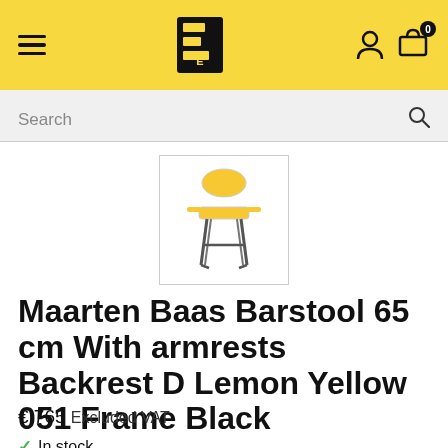Header navigation bar with hamburger menu, logo, user icon, and cart (0 items)
Search
[Figure (photo): Product thumbnail image of Maarten Baas Barstool with yellow seat and black frame on white background]
Maarten Baas Barstool 65 cm With armrests Backrest D Lemon Yellow 051 Frame Black
€ 765 Excluded VAT
In stock